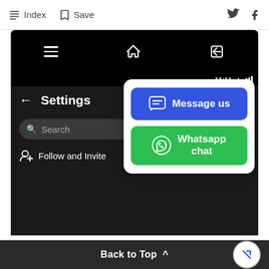Index  Save
[Figure (screenshot): Android phone screen showing Settings page with dark background. Top navigation bar with hamburger menu, home, and back icons. Settings title with back arrow. Search bar. 'Follow and Invite' menu item. Overlay popup with 'Message us' button (blue) and 'Whatsapp chat' button (green).]
Back to Top ^